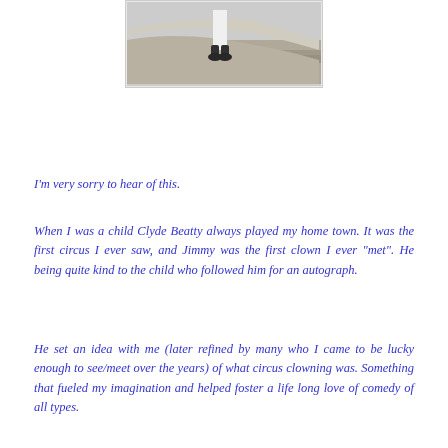[Figure (photo): Black and white photograph showing the lower portion of a figure, possibly a clown or performer, with feet visible against a sandy or dusty ground.]
I'm very sorry to hear of this.
When I was a child Clyde Beatty always played my home town. It was the first circus I ever saw, and Jimmy was the first clown I ever "met". He being quite kind to the child who followed him for an autograph.
He set an idea with me (later refined by many who I came to be lucky enough to see/meet over the years) of what circus clowning was. Something that fueled my imagination and helped foster a life long love of comedy of all types.